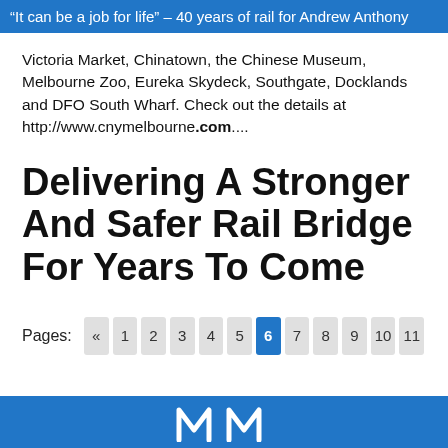“It can be a job for life” – 40 years of rail for Andrew Anthony
Victoria Market, Chinatown, the Chinese Museum, Melbourne Zoo, Eureka Skydeck, Southgate, Docklands and DFO South Wharf. Check out the details at http://www.cnymelbourne.com....
Delivering A Stronger And Safer Rail Bridge For Years To Come
Pages: « 1 2 3 4 5 6 7 8 9 10 11